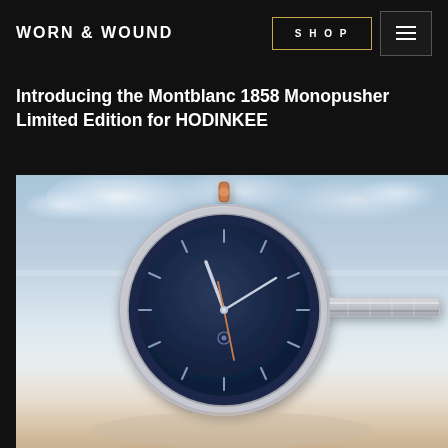WORN & WOUND
Introducing the Montblanc 1858 Monopusher Limited Edition for HODINKEE
[Figure (photo): Product photo of a Montblanc 1858 Monopusher watch with a navy blue textured dial, silver stainless steel case and bracelet, and a rose gold-colored pusher at the top, photographed against a light blue sky and sandy/misty ground background.]